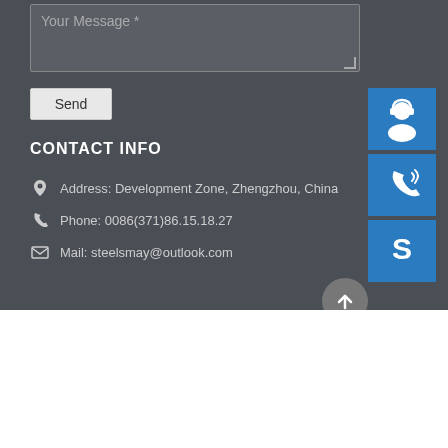Your Message *
Send
[Figure (illustration): Blue button with customer support headset icon]
[Figure (illustration): Blue button with phone/signal icon]
[Figure (illustration): Blue button with Skype logo icon]
CONTACT INFO
Address: Development Zone, Zhengzhou, China
Phone: 0086(371)86.15.18.27
Mail: steelsmay@outlook.com
[Figure (illustration): Back to top circular arrow button]
KSTEEL
Oil Storage tank / Storage tank / Case / News